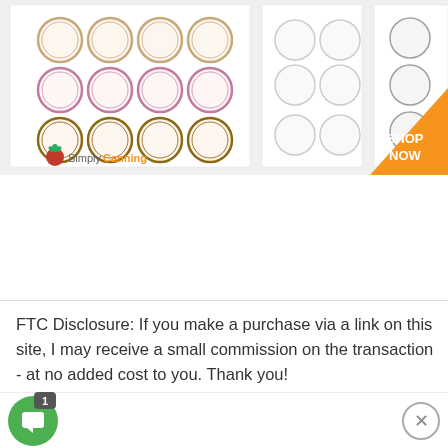[Figure (illustration): Advertisement banner for SimplyCanning.com showing decorative canning jar labels (circular designs in various styles) arranged on white paper sheets, with an orange triangle in the bottom right corner containing 'SHOP NOW' text in white, and the SimplyCanning logo with tomato icon at the bottom left.]
FTC Disclosure: If you make a purchase via a link on this site, I may receive a small commission on the transaction - at no added cost to you. Thank you!
[Figure (other): Green chat bubble widget with speech icon, badge showing '1' unread message, and an X close button on the right side.]